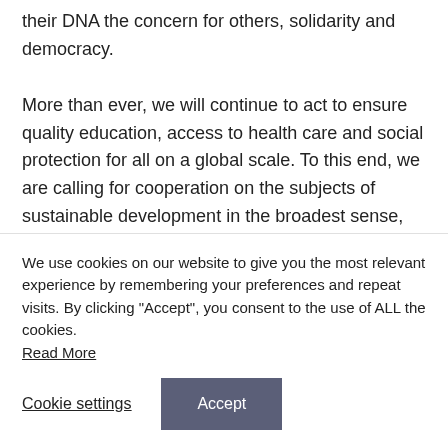their DNA the concern for others, solidarity and democracy.

More than ever, we will continue to act to ensure quality education, access to health care and social protection for all on a global scale. To this end, we are calling for cooperation on the subjects of sustainable development in the broadest sense, for sharing good practices for the promotion of the physical and mental health of educational
We use cookies on our website to give you the most relevant experience by remembering your preferences and repeat visits. By clicking "Accept", you consent to the use of ALL the cookies.
Read More
Cookie settings    Accept